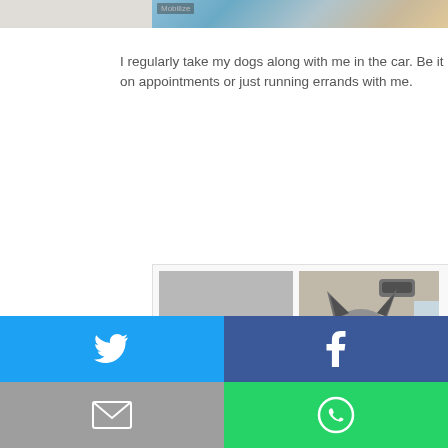[Figure (photo): Top partial image strip showing a car interior scene]
I regularly take my dogs along with me in the car. Be it on appointments or just running errands with me.
[Figure (photo): Two photos of dogs (Husky) in a car interior]
[Figure (infographic): Social sharing buttons: Twitter (blue), Facebook (dark blue), Email (gray), WhatsApp (green), SMS (blue), Other/share (green)]